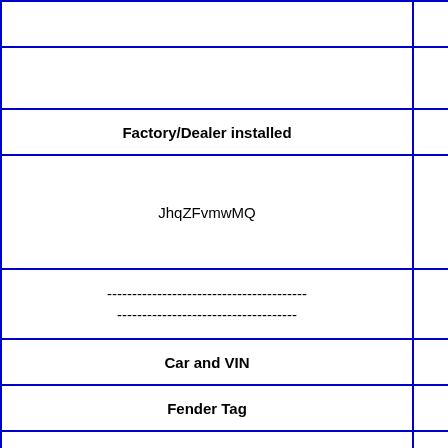|  |  |
| --- | --- |
|  | None |
| Factory/Dealer installed | Broadcas |
| JhqZFvmwMQ | XqQmwY |
| ----------------------------------------
------------------------------------ |  |
| Car and VIN |  |
| Fender Tag |  |
|  |  |
| Options | O |
|  | None |
| Factory/Dealer installed | Broadcas |
| QpItrWuyvjGBbS | RuH |